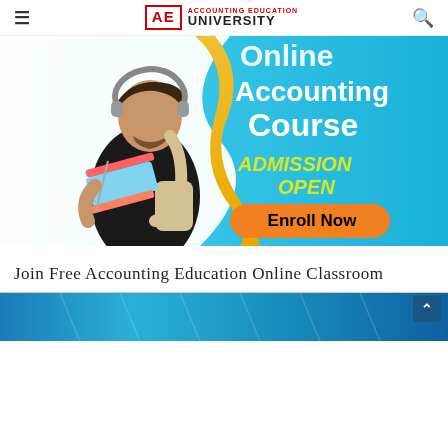≡  AE ACCOUNTING EDUCATION UNIVERSITY  🔍
[Figure (illustration): Online Accounting Course banner with a student holding books and headphones. Blue background with white and yellow text: 'Online Accounting Course', 'ADMISSION OPEN', and an orange 'Enroll Now' button.]
Join Free Accounting Education Online Classroom
[Figure (photo): Bottom strip showing a partial photo of tablets/devices with blue tones, partially visible at page bottom.]